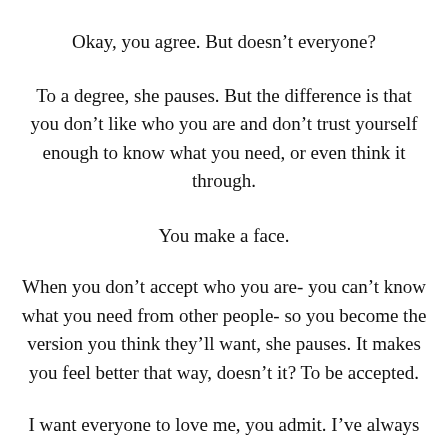Okay, you agree. But doesn't everyone?
To a degree, she pauses. But the difference is that you don't like who you are and don't trust yourself enough to know what you need, or even think it through.
You make a face.
When you don't accept who you are- you can't know what you need from other people- so you become the version you think they'll want, she pauses. It makes you feel better that way, doesn't it? To be accepted.
I want everyone to love me, you admit. I've always